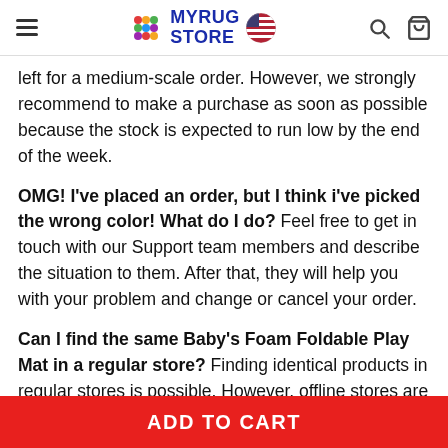MYRUG STORE
left for a medium-scale order. However, we strongly recommend to make a purchase as soon as possible because the stock is expected to run low by the end of the week.
OMG! I've placed an order, but I think i've picked the wrong color! What do I do? Feel free to get in touch with our Support team members and describe the situation to them. After that, they will help you with your problem and change or cancel your order.
Can I find the same Baby's Foam Foldable Play Mat in a regular store? Finding identical products in regular stores is possible. However, offline stores are common to resell